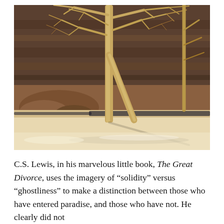[Figure (photo): Outdoor photograph of a bare-branched tree with a forked trunk growing near a rocky cliff wall and a small stream or river. The ground is light sandy/snowy. The background shows reddish-brown rocky terrain and layered cliff face. The tree casts a long shadow on the pale ground.]
C.S. Lewis, in his marvelous little book, The Great Divorce, uses the imagery of “solidity” versus “ghostliness” to make a distinction between those who have entered paradise, and those who have not. He clearly did not